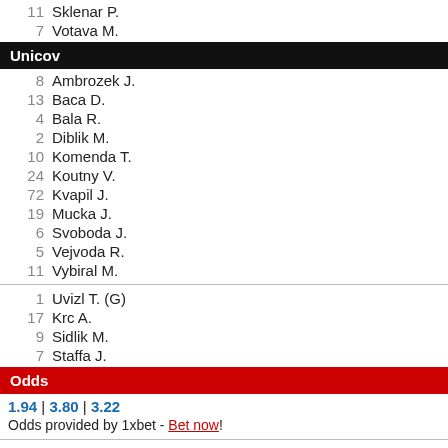11  Sklenar P.
7   Votava M.
Unicov
8   Ambrozek J.
13  Baca D.
4   Bala R.
2   Diblik M.
10  Komenda T.
24  Koutny V.
72  Kvapil J.
19  Mucka J.
6   Svoboda J.
5   Vejvoda R.
11  Vybiral M.
1   Uvizl T. (G)
17  Krc A.
9   Sidlik M.
7   Staffa J.
Odds
1.94 | 3.80 | 3.22
Odds provided by 1xbet - Bet now!
REFRESH
Back | Top
Livecore.cz - website for soccer fans! Here you can find games that are being played today, as well as all major league game scores from around the world!